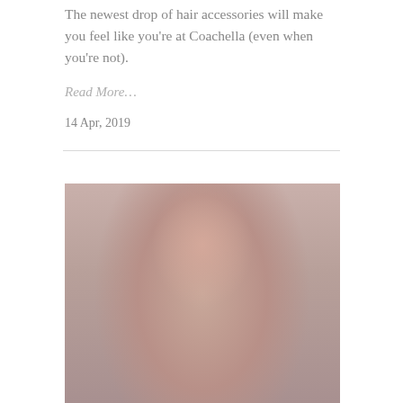The newest drop of hair accessories will make you feel like you're at Coachella (even when you're not).
Read More…
14 Apr, 2019
[Figure (photo): Portrait photo of a woman with shoulder-length brown hair wearing a dark off-shoulder top, against a muted pink-brown background.]